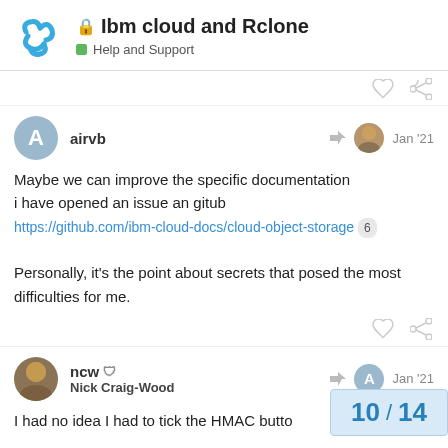Ibm cloud and Rclone — Help and Support
airvb — Jan '21
Maybe we can improve the specific documentation
i have opened an issue an gitub
https://github.com/ibm-cloud-docs/cloud-object-storage 6

Personally, it's the point about secrets that posed the most difficulties for me.
ncw Nick Craig-Wood — Jan '21
I had no idea I had to tick the HMAC butto
10 / 14